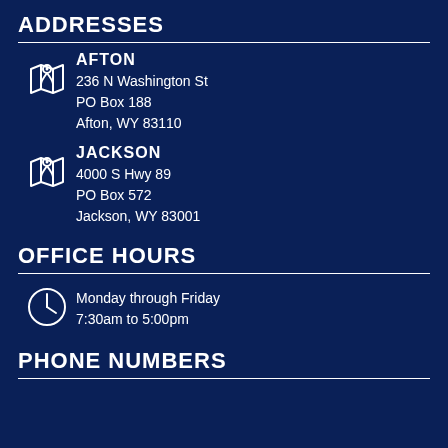ADDRESSES
AFTON
236 N Washington St
PO Box 188
Afton, WY 83110
JACKSON
4000 S Hwy 89
PO Box 572
Jackson, WY 83001
OFFICE HOURS
Monday through Friday
7:30am to 5:00pm
PHONE NUMBERS